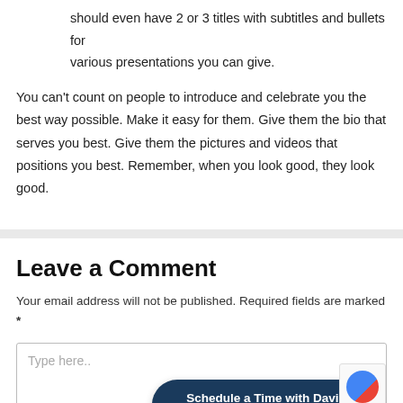should even have 2 or 3 titles with subtitles and bullets for various presentations you can give.
You can't count on people to introduce and celebrate you the best way possible. Make it easy for them. Give them the bio that serves you best. Give them the pictures and videos that positions you best. Remember, when you look good, they look good.
Leave a Comment
Your email address will not be published. Required fields are marked *
Type here..